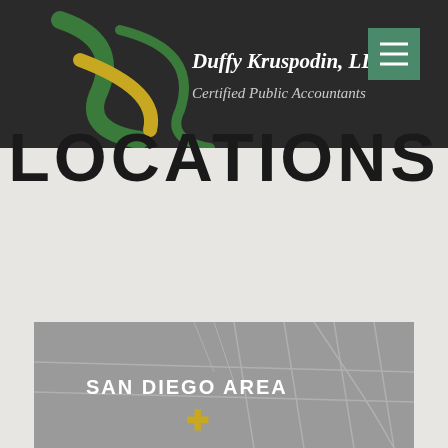[Figure (logo): Duffy Kruspodin LLP logo with green and yellow swoosh curves on dark background header]
LOCATIONS
[Figure (map): Gray map of San Diego Area with street outlines and a gold plus/cross pin marker indicating office location]